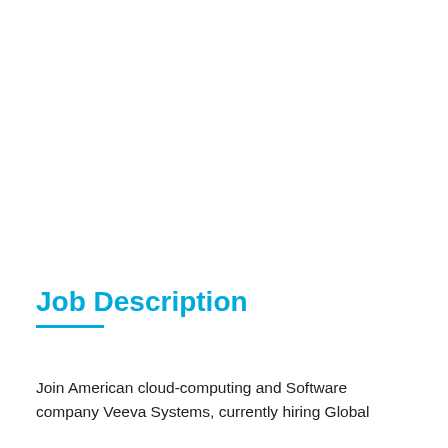Job Description
Join American cloud-computing and Software company Veeva Systems, currently hiring Global